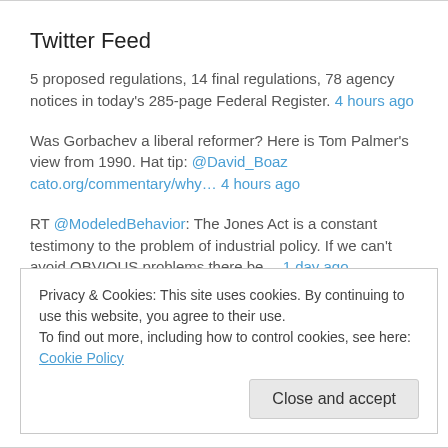Twitter Feed
5 proposed regulations, 14 final regulations, 78 agency notices in today's 285-page Federal Register. 4 hours ago
Was Gorbachev a liberal reformer? Here is Tom Palmer's view from 1990. Hat tip: @David_Boaz cato.org/commentary/why… 4 hours ago
RT @ModeledBehavior: The Jones Act is a constant testimony to the problem of industrial policy. If we can't avoid OBVIOUS problems there be… 1 day ago
6 proposed regulations, 6 final regulations, 134 agency notices in
Privacy & Cookies: This site uses cookies. By continuing to use this website, you agree to their use.
To find out more, including how to control cookies, see here: Cookie Policy
Close and accept